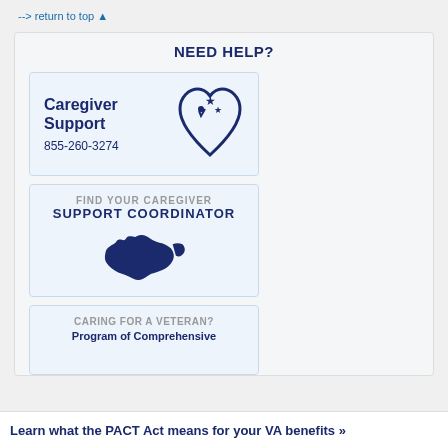--> return to top ▲
NEED HELP?
[Figure (infographic): Caregiver Support card with heart icon and stars, phone number 855-260-3274]
[Figure (infographic): Find Your Caregiver Support Coordinator card with US map icon]
[Figure (infographic): Caring for a Veteran? Program of Comprehensive card (partially visible)]
Learn what the PACT Act means for your VA benefits »